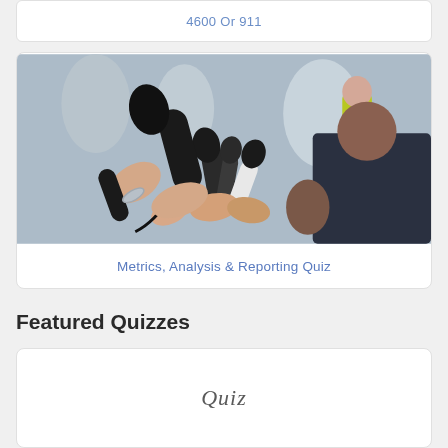4600 Or 911
[Figure (photo): Press conference scene with multiple microphones being held by various hands toward a person being interviewed, crowd visible in background]
Metrics, Analysis & Reporting Quiz
Featured Quizzes
[Figure (photo): Card with Quiz text displayed in italic serif font]